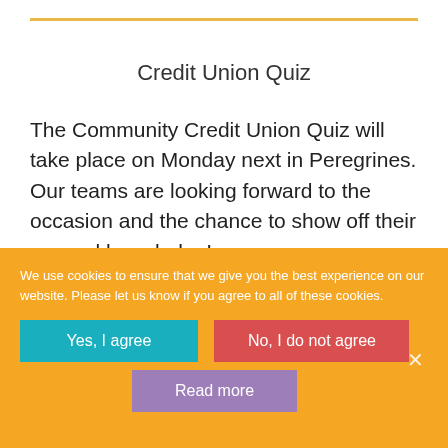Credit Union Quiz
The Community Credit Union Quiz will take place on Monday next in Peregrines. Our teams are looking forward to the occasion and the chance to show off their general knowledge!
We use cookies to ensure that we give you the best experience on our website. Please let us know if you agree to all of these cookies.
Yes, I agree
No, I do not agree
Read more